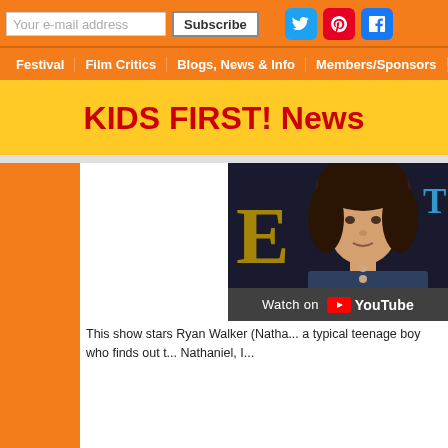Your e-mail address | Subscribe | (social icons: Twitter, Pinterest, Facebook)
Festival | Film Critics | Blogs, News & Info | Members/Sponsors | Contact Us | S...
KIDS FIRST! News
[Figure (photo): YouTube video thumbnail showing a young teenage boy with curly dark hair wearing a dark blue shirt, with a 'Watch on YouTube' overlay bar at the bottom]
This show stars Ryan Walker (Natha... a typical teenage boy who finds out t... Nathaniel, I...